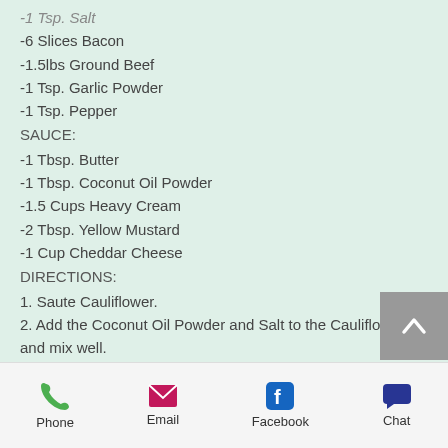-1 Tsp. Salt
-6 Slices Bacon
-1.5lbs Ground Beef
-1 Tsp. Garlic Powder
-1 Tsp. Pepper
SAUCE:
-1 Tbsp. Butter
-1 Tbsp. Coconut Oil Powder
-1.5 Cups Heavy Cream
-2 Tbsp. Yellow Mustard
-1 Cup Cheddar Cheese
DIRECTIONS:
1. Saute Cauliflower.
2. Add the Coconut Oil Powder and Salt to the Cauliflower and mix well.
3. Cook the Bacon in a pan until done, but not too crisp.
Phone  Email  Facebook  Chat